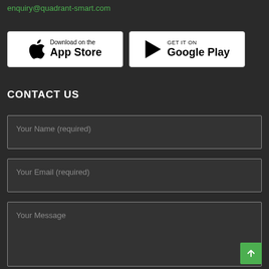enquiry@quadrant-smart.com
[Figure (other): App Store and Google Play download buttons]
CONTACT US
Your Name (required)
Your Email (required)
Your Message